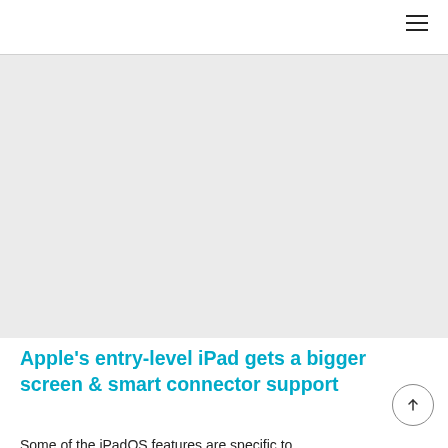[Figure (other): Large gray placeholder image area filling the upper portion of the page below the header]
Apple's entry-level iPad gets a bigger screen & smart connector support
Some of the iPadOS features are specific to